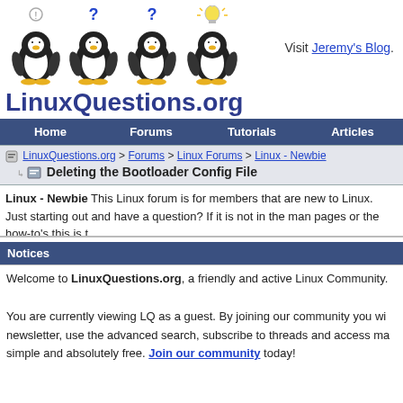[Figure (logo): LinuxQuestions.org logo with four Tux penguins and site name text]
Visit Jeremy's Blog.
Home | Forums | Tutorials | Articles
LinuxQuestions.org > Forums > Linux Forums > Linux - Newbie
Deleting the Bootloader Config File
Linux - Newbie This Linux forum is for members that are new to Linux. Just starting out and have a question? If it is not in the man pages or the how-to's this is t
Notices
Welcome to LinuxQuestions.org, a friendly and active Linux Community. You are currently viewing LQ as a guest. By joining our community you wi newsletter, use the advanced search, subscribe to threads and access ma simple and absolutely free. Join our community today!